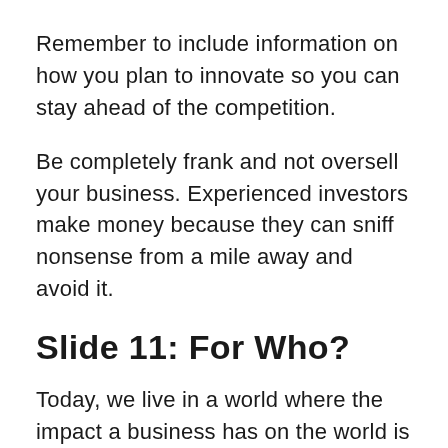Remember to include information on how you plan to innovate so you can stay ahead of the competition.
Be completely frank and not oversell your business. Experienced investors make money because they can sniff nonsense from a mile away and avoid it.
Slide 11: For Who?
Today, we live in a world where the impact a business has on the world is